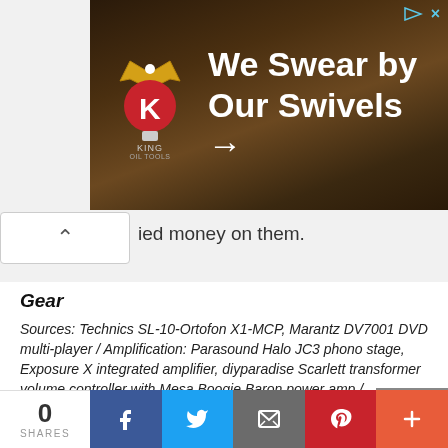[Figure (photo): King Oil Tools advertisement banner with logo and text 'We Swear by Our Swivels →' on a dark earthy background]
ied money on them.
Gear
Sources: Technics SL-10-Ortofon X1-MCP, Marantz DV7001 DVD multi-player / Amplification: Parasound Halo JC3 phono stage, Exposure X integrated amplifier, diyparadise Scarlett transformer volume controller with Mesa Boogie Baron power amp / Speakers: Sonus faber Guarneri Homage, Mordaunt-Short MS10i, James EMB-1000 subwoofer / Headphones: Sennheiser HD414 Classic and Stax SR30 / Wires: Euphonic Research Dendrites, Axons, Cable Talk Talk 3, and some diy stuff.
Price: US$350
0 SHARES | Facebook | Twitter | Email | Pinterest | More